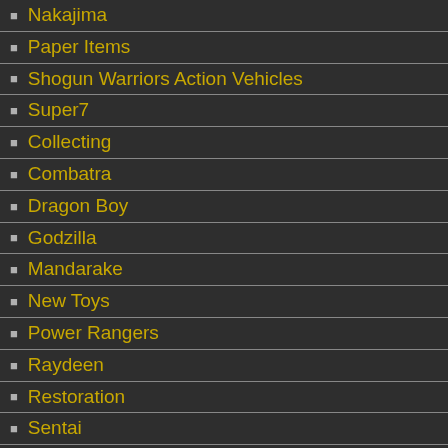Nakajima
Paper Items
Shogun Warriors Action Vehicles
Super7
Collecting
Combatra
Dragon Boy
Godzilla
Mandarake
New Toys
Power Rangers
Raydeen
Restoration
Sentai
Shogun Warriors Action Figures
Toynami
Unifive